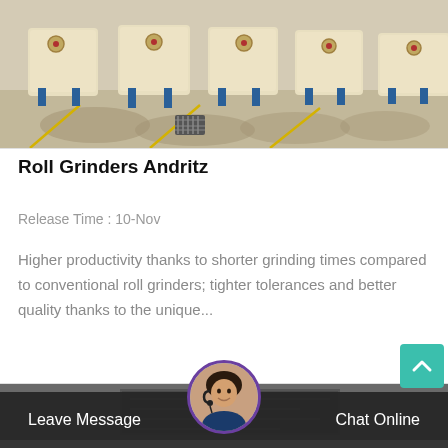[Figure (photo): Row of large industrial roll grinder machines (beige/cream colored with blue legs) parked in a concrete lot, casting shadows, with yellow line markings and a drain grate visible.]
Roll Grinders Andritz
Release Time : 10-Nov
Higher productivity thanks to shorter grinding times compared to conventional roll grinders; tighter tolerances and better quality thanks to the unique...
[Figure (photo): Partially visible bottom card with dark industrial image.]
Leave Message
Chat Online